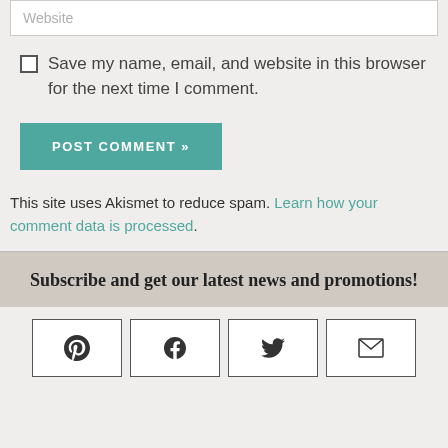Website
Save my name, email, and website in this browser for the next time I comment.
POST COMMENT »
This site uses Akismet to reduce spam. Learn how your comment data is processed.
Subscribe and get our latest news and promotions!
[Figure (infographic): Row of four social media icon buttons: Pinterest, Facebook, Twitter, Email]